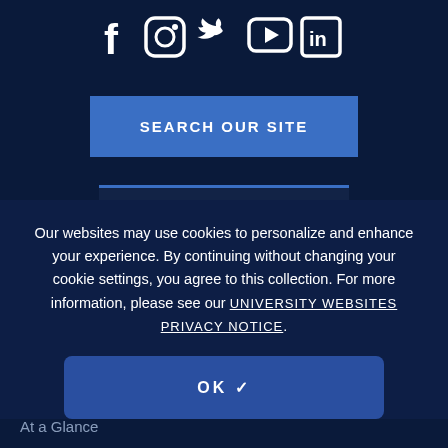[Figure (illustration): Social media icons row: Facebook, Instagram, Twitter, YouTube, LinkedIn in white on dark navy background]
SEARCH OUR SITE
SUPPORT ENGINEERING
Our websites may use cookies to personalize and enhance your experience. By continuing without changing your cookie settings, you agree to this collection. For more information, please see our UNIVERSITY WEBSITES PRIVACY NOTICE.
OK ✓
ABOUT
Leadership
Industry Advisory Board
At a Glance
Contact